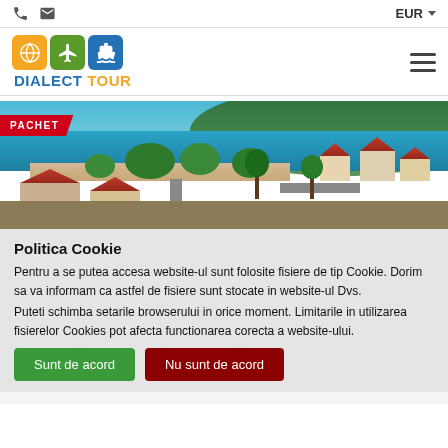EUR
[Figure (logo): Dialect Tour logo with orange globe, green airplane, and blue ship icons]
[Figure (photo): Aerial view of a coastal Greek town with beach, blue sea, trees and red-roofed buildings. Badge reading PACHET overlaid on top-left.]
Politica Cookie
Pentru a se putea accesa website-ul sunt folosite fisiere de tip Cookie. Dorim sa va informam ca astfel de fisiere sunt stocate in website-ul Dvs.
Puteti schimba setarile browserului in orice moment. Limitarile in utilizarea fisierelor Cookies pot afecta functionarea corecta a website-ului.
Sunt de acord
Nu sunt de acord